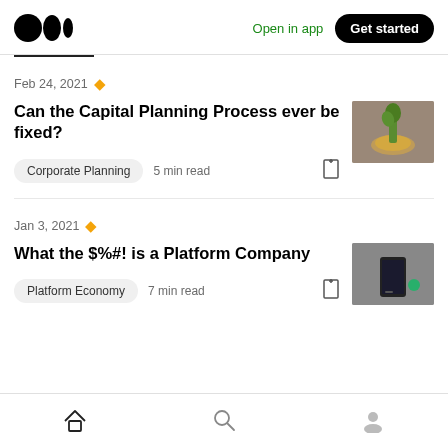Medium logo | Open in app | Get started
Feb 24, 2021 ★
Can the Capital Planning Process ever be fixed?
Corporate Planning  5 min read
Jan 3, 2021 ★
What the $%#! is a Platform Company
Platform Economy  7 min read
Home | Search | Profile